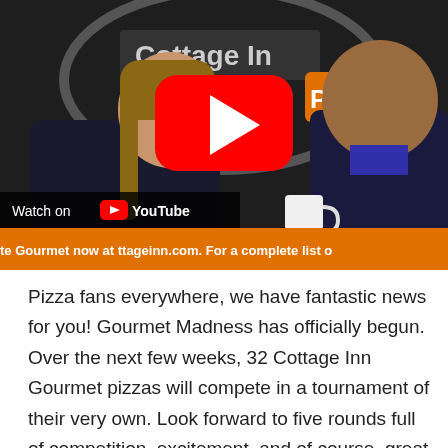[Figure (screenshot): YouTube video thumbnail showing two people sitting in front of a Cottage Inn Pizza sign. A YouTube play button is overlaid in the center. A 'Watch on YouTube' label appears at the bottom left. An orange ticker bar at the bottom reads partial text about cottageinn.com.]
Pizza fans everywhere, we have fantastic news for you! Gourmet Madness has officially begun. Over the next few weeks, 32 Cottage Inn Gourmet pizzas will compete in a tournament of their very own. Look forward to five rounds full of competition, excitement, and of course, great pizza. In the end, only one